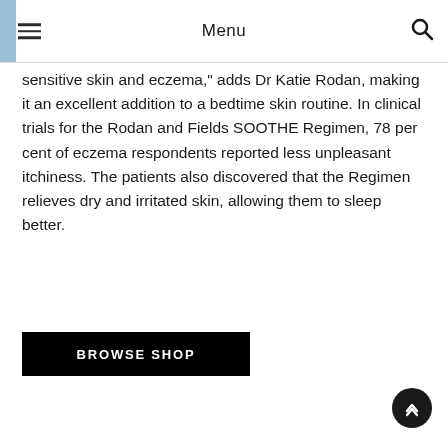Menu
sensitive skin and eczema," adds Dr Katie Rodan, making it an excellent addition to a bedtime skin routine. In clinical trials for the Rodan and Fields SOOTHE Regimen, 78 per cent of eczema respondents reported less unpleasant itchiness. The patients also discovered that the Regimen relieves dry and irritated skin, allowing them to sleep better.
BROWSE SHOP